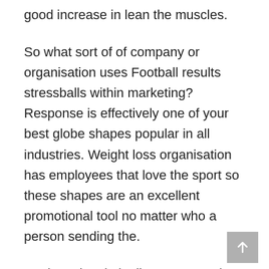good increase in lean the muscles.
So what sort of of company or organisation uses Football results stressballs within marketing? Response is effectively one of your best globe shapes popular in all industries. Weight loss organisation has employees that love the sport so these shapes are an excellent promotional tool no matter who a person sending the.
Against The cloths line – Versus the Line provides college Football news and commentary as well as good analysis of every week's nfl and college football bets and